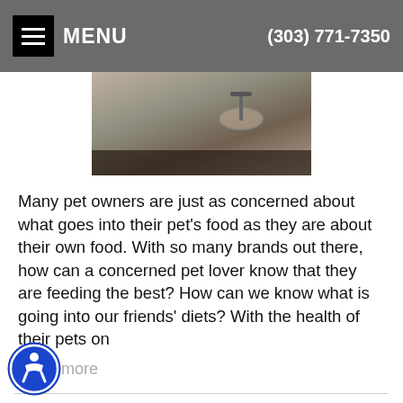MENU  (303) 771-7350
[Figure (photo): A dog eating from a metal bowl mounted on a stand, cropped photo showing the dog's snout near the bowl.]
Many pet owners are just as concerned about what goes into their pet's food as they are about their own food. With so many brands out there, how can a concerned pet lover know that they are feeding the best? How can we know what is going into our friends' diets? With the health of their pets on
Read more
Helping Your Pet Keep His Cool This Summer
Category: Video Newsroom, Other Interests